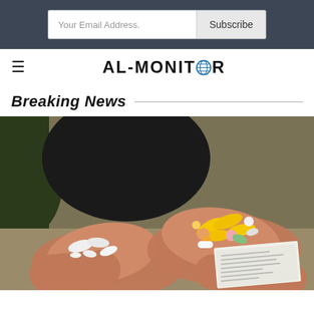Your Email Address. Subscribe
AL-MONITOR
Breaking News
[Figure (photo): Two hands holding pills — left hand holds several white pills, right hand holds a large assortment of colorful pills (yellow capsules, pink, orange, white tablets) along with a folded paper/leaflet.]